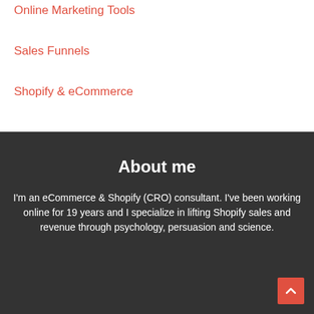Online Marketing Tools
Sales Funnels
Shopify & eCommerce
About me
I'm an eCommerce & Shopify (CRO) consultant. I've been working online for 19 years and I specialize in lifting Shopify sales and revenue through psychology, persuasion and science.